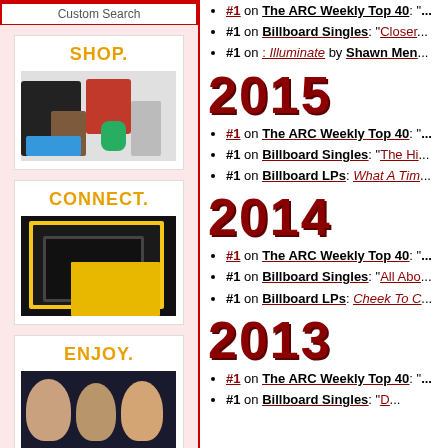Custom Search
[Figure (illustration): Amazon advertisement banner with SHOP. CONNECT. ENJOY. sections showing products, Kindle devices, and a movie/TV show]
2015
#1 on The ARC Weekly Top 40: "..."
#1 on Billboard Singles: "Closer..."
#1 on : Illuminate by Shawn Men...
2014
#1 on The ARC Weekly Top 40: "..."
#1 on Billboard Singles: "The Hi..."
#1 on Billboard LPs: What A Tim...
2013
#1 on The ARC Weekly Top 40: "..."
#1 on Billboard Singles: "All Abo..."
#1 on Billboard LPs: Cheek To C...
2013
#1 on The ARC Weekly Top 40: "..."
#1 on Billboard Singles: "D..."